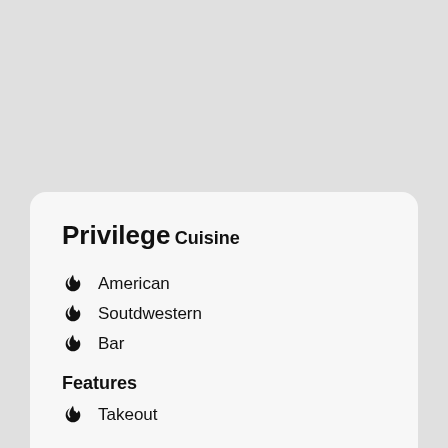Privilege
Cuisine
American
Soutdwestern
Bar
Features
Takeout